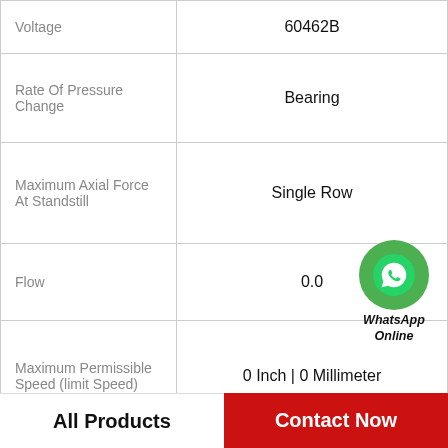| Property | Value |
| --- | --- |
| Voltage | 60462B |
| Rate Of Pressure Change | Bearing |
| Maximum Axial Force At Standstill | Single Row |
| Flow | 0.0 |
| Maximum Permissible Speed (limit Speed) | 0 Inch | 0 Millimeter |
| Drive Speed | Cup |
| Determining Operating Characteristics | Flanged OD | With Ke |
[Figure (illustration): WhatsApp Online green phone icon with text 'WhatsApp Online']
All Products   Contact Now